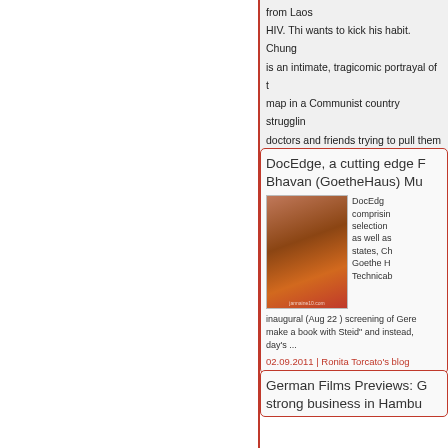from Laos HIV. Thi wants to kick his habit. Chung is an intimate, tragicomic portrayal of t map in a Communist country strugglin doctors and friends trying to pull them
Login or register to post comments reads
DocEdge, a cutting edge F Bhavan (GoetheHaus) Mu
[Figure (photo): Portrait photo of a woman smiling, wearing a red top, with a watermark showing janneaine10.com]
DocEdg comprisin selection as well as states, Ch Goethe H Technicab inaugural (Aug 22 ) screening of Gere make a book with Steid" and instead, day's ...
02.09.2011 | Ronita Torcato's blog
German Films Previews: O strong business in Hambu